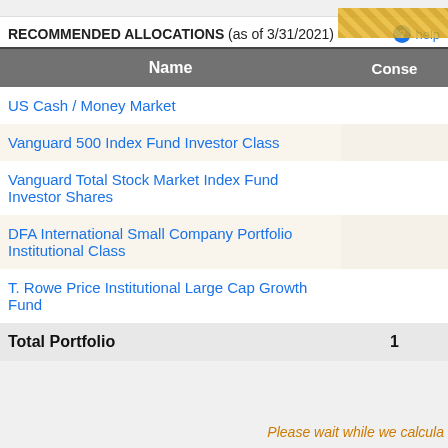RECOMMENDED ALLOCATIONS (as of 3/31/2021)
| Name | Conse |
| --- | --- |
| US Cash / Money Market |  |
| Vanguard 500 Index Fund Investor Class |  |
| Vanguard Total Stock Market Index Fund Investor Shares |  |
| DFA International Small Company Portfolio Institutional Class |  |
| T. Rowe Price Institutional Large Cap Growth Fund |  |
| Total Portfolio | 1 |
Please wait while we calcula